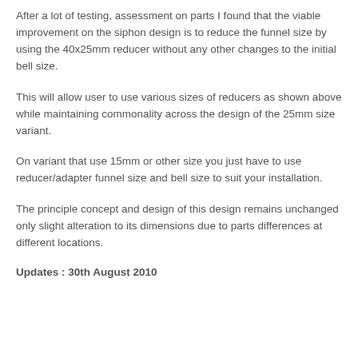After a lot of testing, assessment on parts I found that the viable improvement on the siphon design is to reduce the funnel size by using the 40x25mm reducer without any other changes to the initial bell size.
This will allow user to use various sizes of reducers as shown above while maintaining commonality across the design of the 25mm size variant.
On variant that use 15mm or other size you just have to use reducer/adapter funnel size and bell size to suit your installation.
The principle concept and design of this design remains unchanged only slight alteration to its dimensions due to parts differences at different locations.
Updates : 30th August 2010